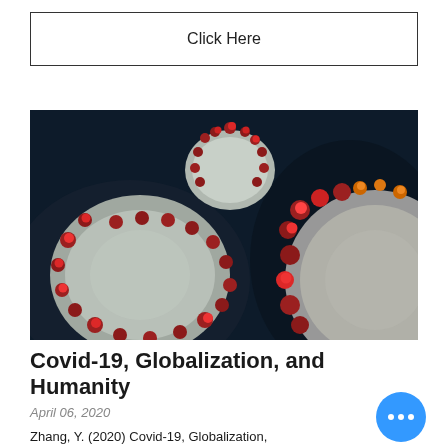Click Here
[Figure (photo): Microscopic 3D render of coronavirus (SARS-CoV-2) particles showing the characteristic spike proteins on a dark navy background. Multiple virus particles visible with red/crimson and orange spike proteins on grey-white spherical bodies.]
Covid-19, Globalization, and Humanity
April 06, 2020
Zhang, Y. (2020) Covid-19, Globalization,